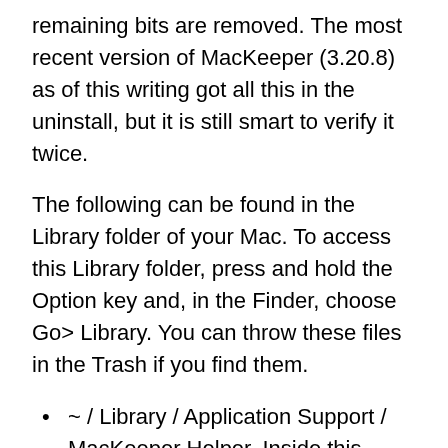remaining bits are removed. The most recent version of MacKeeper (3.20.8) as of this writing got all this in the uninstall, but it is still smart to verify it twice.
The following can be found in the Library folder of your Mac. To access this Library folder, press and hold the Option key and, in the Finder, choose Go> Library. You can throw these files in the Trash if you find them.
~ / Library / Application Support / MacKeeper Helper. Inside this MacKeeper Helper folder is a NoticeEngine.plugin file. Go ahead and drop the MacKeeper Helper folder and this file will disappear along with it.
~ / Library / Caches / com.mackeeper.MacKeeper